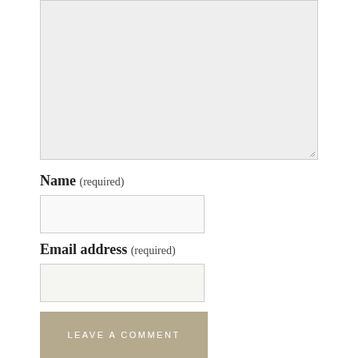[Figure (screenshot): A large light gray textarea input box with a resize handle in the bottom right corner]
Name (required)
[Figure (screenshot): A text input field for Name]
Email address (required)
[Figure (screenshot): A text input field for Email address]
LEAVE A COMMENT